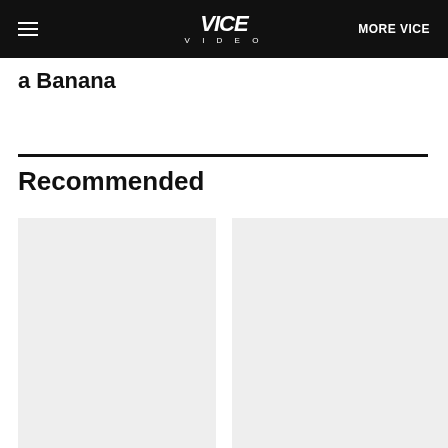VICE VIDEO | MORE VICE
a Banana
Recommended
[Figure (other): Left placeholder thumbnail card (light gray rectangle)]
[Figure (other): Right placeholder thumbnail card (light gray rectangle)]